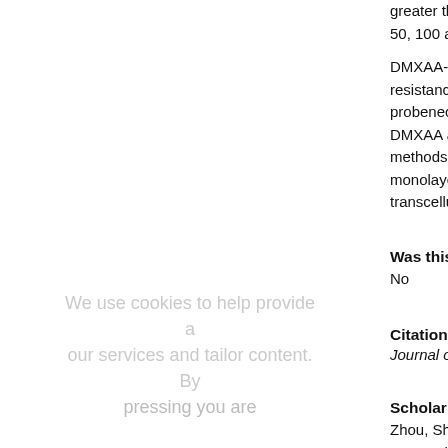greater than those for the AP... 50, 100 and 200 μM, respecti... DMXAA-G was Na+- and ener... resistance associated protei... probenecid. These data indi... DMXAA and DMXAA-G in the... methods have been applied... monolayers. DMXAA across... transcellular process, where...
Was this content writte...
No
Citation / Publisher Attr...
Journal of Chromatography B...
Scholar Commons Citati...
Zhou, Shufeng; Feng, Xia; Kest... "Determination of the Investi... Acetic Acid and its Acyl Glucur... with Fluorescence Detection:... Publications. 37. https://digitalcommons.usf.edu...